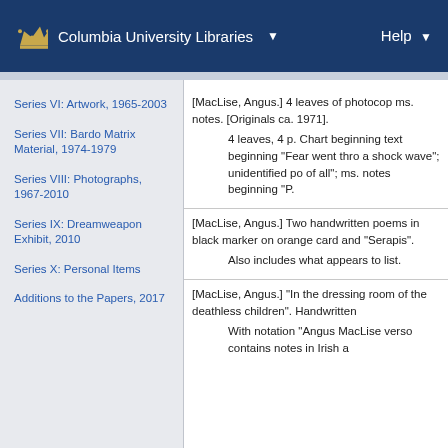Columbia University Libraries  Help
Series VI: Artwork, 1965-2003
Series VII: Bardo Matrix Material, 1974-1979
Series VIII: Photographs, 1967-2010
Series IX: Dreamweapon Exhibit, 2010
Series X: Personal Items
Additions to the Papers, 2017
[MacLise, Angus.] 4 leaves of photocop ms. notes. [Originals ca. 1971].
4 leaves, 4 p. Chart beginning text beginning "Fear went thro a shock wave"; unidentified po of all"; ms. notes beginning "P.
[MacLise, Angus.] Two handwritten poems in black marker on orange card and "Serapis".
Also includes what appears to list.
[MacLise, Angus.] "In the dressing room of the deathless children". Handwritten
With notation "Angus MacLise verso contains notes in Irish a